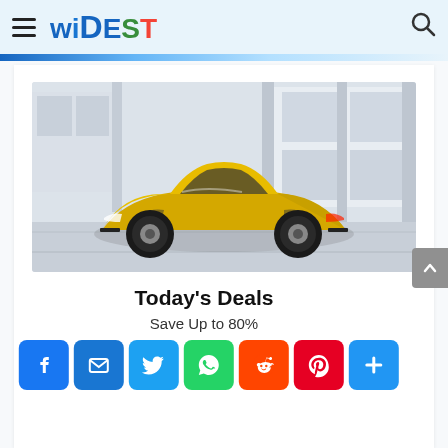WIDEST
[Figure (photo): Yellow supercar/hypercar parked inside an industrial building with large windows and concrete columns. The car is bright yellow with black accents, low-slung sports car body.]
Today's Deals
Save Up to 80%
[Figure (infographic): Social media share buttons row: Facebook (blue), Email (blue), Twitter (light blue), WhatsApp (green), Reddit (orange), Pinterest (red), More/Plus (blue)]